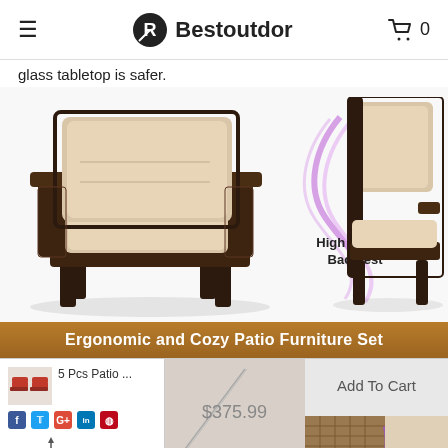Bestoutdor
glass tabletop is safer.
[Figure (photo): Two views of a brown wicker/rattan patio armchair with beige cushions. Left view shows front-angled perspective. Right view shows side/back detail with purple swoosh graphic and label 'High Curved Backrest'.]
Ergonomic and Cozy Patio Furniture Set
[Figure (screenshot): Bottom strip showing product thumbnail (red patio loungers), product name '5 Pcs Patio ...', social share icons (Facebook, Twitter, Google+, LinkedIn, Pinterest), color selector 'Red', size indicator '3"', price '$375.99', 'Add To Cart' button, and a close-up photo of wicker furniture corner with purple accent.]